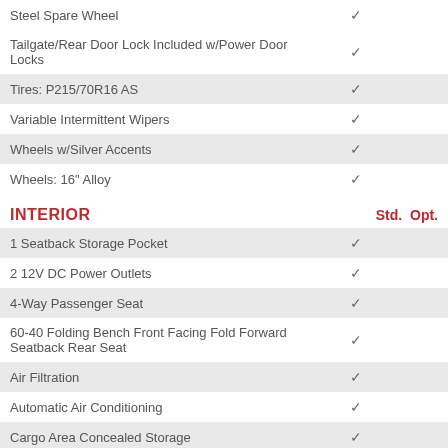| Feature | Std. | Opt. |
| --- | --- | --- |
| Steel Spare Wheel | ✓ |  |
| Tailgate/Rear Door Lock Included w/Power Door Locks | ✓ |  |
| Tires: P215/70R16 AS | ✓ |  |
| Variable Intermittent Wipers | ✓ |  |
| Wheels w/Silver Accents | ✓ |  |
| Wheels: 16" Alloy | ✓ |  |
INTERIOR
| Feature | Std. | Opt. |
| --- | --- | --- |
| 1 Seatback Storage Pocket | ✓ |  |
| 2 12V DC Power Outlets | ✓ |  |
| 4-Way Passenger Seat | ✓ |  |
| 60-40 Folding Bench Front Facing Fold Forward Seatback Rear Seat | ✓ |  |
| Air Filtration | ✓ |  |
| Automatic Air Conditioning | ✓ |  |
| Cargo Area Concealed Storage | ✓ |  |